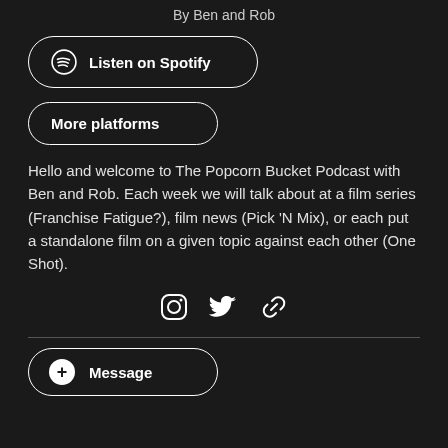By Ben and Rob
[Figure (other): Listen on Spotify button with Spotify logo]
[Figure (other): More platforms button]
Hello and welcome to The Popcorn Bucket Podcast with Ben and Rob. Each week we will talk about at a film series (Franchise Fatigue?), film news (Pick 'N Mix), or each put a standalone film on a given topic against each other (One Shot).
[Figure (other): Social media icons: Instagram, Twitter, Link]
[Figure (other): Message button with plus icon]